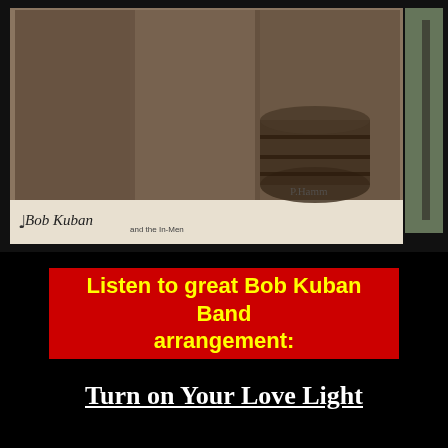[Figure (photo): Black and white vintage promotional photo of Bob Kuban Band musicians, several people sitting/posing with a barrel, wearing patterned shirts. A signature appears at bottom right of the photo. A second partial photo is visible on the far right edge.]
Bob Kuban and the In-Men (signature/logo on photo)
Listen to great Bob Kuban Band arrangement:
Turn on Your Love Light